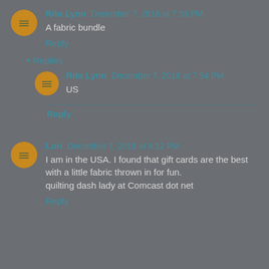Rita Lynn December 7, 2016 at 7:53 PM
A fabric bundle
Reply
Replies
Rita Lynn December 7, 2016 at 7:54 PM
US
Reply
Lori December 7, 2016 at 8:12 PM
I am in the USA. I found that gift cards are the best with a little fabric thrown in for fun.
quilting dash lady at Comcast dot net
Reply